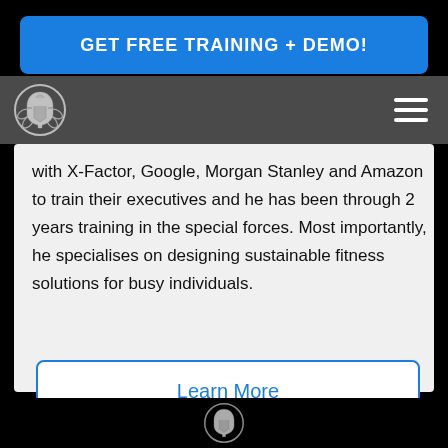GET FREE TRAINING + DEMO!
[Figure (logo): Spartan helmet logo in a circular badge with laurel wreath, rendered in silver/gray on dark background]
[Figure (other): Hamburger menu icon — three white horizontal bars]
with X-Factor, Google, Morgan Stanley and Amazon to train their executives and he has been through 2 years training in the special forces. Most importantly, he specialises on designing sustainable fitness solutions for busy individuals.
Learn More
[Figure (logo): Spartan helmet logo (partial, bottom) in silver on black footer background]